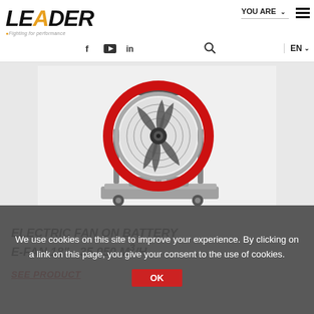LEADER - Fighting for performance | YOU ARE | EN
[Figure (photo): Industrial electric battery-powered fan (E-FAN 18") with red circular housing, metal guard grille, fan blades, and wheeled platform base]
ELECTRIC FAN ON BATTERY E-FAN 18" - 35,050 M³/H
SEE PRODUCT
We use cookies on this site to improve your experience. By clicking on a link on this page, you give your consent to the use of cookies.
OK